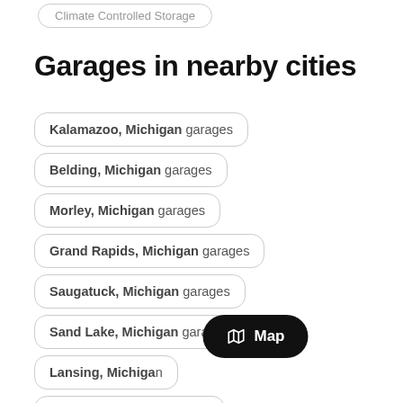Climate Controlled Storage
Garages in nearby cities
Kalamazoo, Michigan garages
Belding, Michigan garages
Morley, Michigan garages
Grand Rapids, Michigan garages
Saugatuck, Michigan garages
Sand Lake, Michigan garages
Lansing, Michigan garages
Lawton, Michigan garages